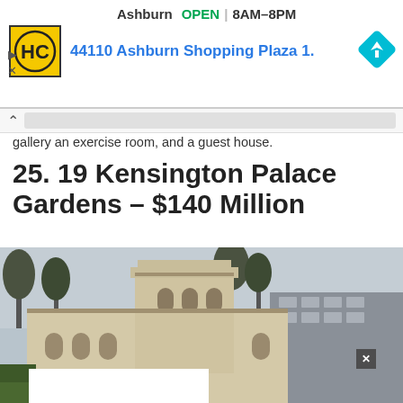[Figure (screenshot): Ad banner: HC logo, Ashburn OPEN 8AM-8PM, address 44110 Ashburn Shopping Plaza 1., navigation diamond icon]
gallery an exercise room, and a guest house.
25. 19 Kensington Palace Gardens – $140 Million
[Figure (photo): Aerial view of a large classical white stone mansion at 19 Kensington Palace Gardens, London, with surrounding trees and urban neighborhood in background]